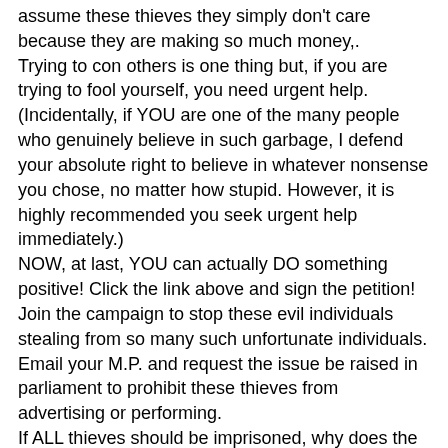assume these thieves they simply don't care because they are making so much money,. Trying to con others is one thing but, if you are trying to fool yourself, you need urgent help. (Incidentally, if YOU are one of the many people who genuinely believe in such garbage, I defend your absolute right to believe in whatever nonsense you chose, no matter how stupid. However, it is highly recommended you seek urgent help immediately.) NOW, at last, YOU can actually DO something positive! Click the link above and sign the petition! Join the campaign to stop these evil individuals stealing from so many such unfortunate individuals. Email your M.P. and request the issue be raised in parliament to prohibit these thieves from advertising or performing. If ALL thieves should be imprisoned, why does the government condone this huge (and growing) group of con artists stealing with impunity? They should also be imprisoned and their vast profits applied to support victims. It's nothing short of legalised theft! The truth is posted everywhere that these con artists should be in PRISON like ANY con artist so isn't it